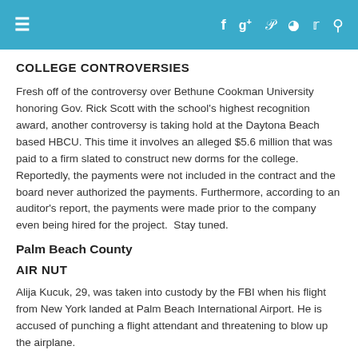≡  f  g+  ℗  ◉  𝕥  ⚲
COLLEGE CONTROVERSIES
Fresh off of the controversy over Bethune Cookman University honoring Gov. Rick Scott with the school's highest recognition award, another controversy is taking hold at the Daytona Beach based HBCU. This time it involves an alleged $5.6 million that was paid to a firm slated to construct new dorms for the college. Reportedly, the payments were not included in the contract and the board never authorized the payments. Furthermore, according to an auditor's report, the payments were made prior to the company even being hired for the project.  Stay tuned.
Palm Beach County
AIR NUT
Alija Kucuk, 29, was taken into custody by the FBI when his flight from New York landed at Palm Beach International Airport. He is accused of punching a flight attendant and threatening to blow up the airplane.